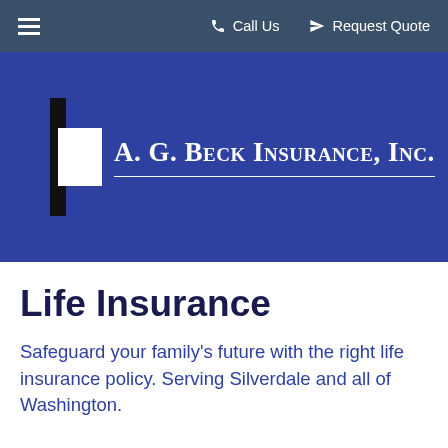≡  Call Us   Request Quote
[Figure (logo): A. G. Beck Insurance, Inc. logo with cross/plus symbol on blue background]
Life Insurance
Safeguard your family's future with the right life insurance policy. Serving Silverdale and all of Washington.